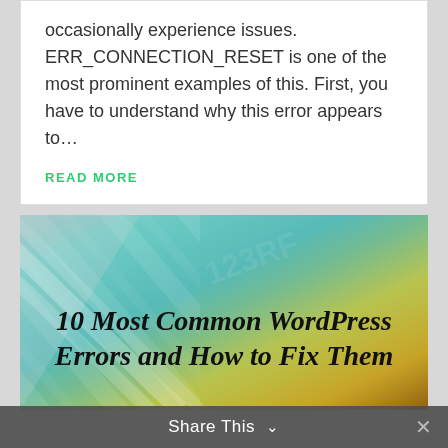occasionally experience issues. ERR_CONNECTION_RESET is one of the most prominent examples of this. First, you have to understand why this error appears to…
READ MORE
[Figure (illustration): Decorative image with teal-to-yellow gradient background and diagonal white striped pattern, containing bold serif text: '10 Most Common WordPress Errors and How to Fix Them']
Share This ∨  ✕